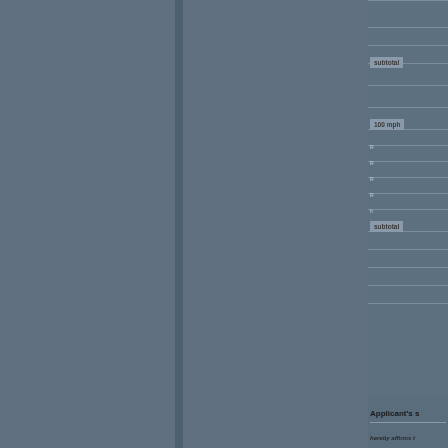subtotal
100 mph
subtotal
Applicant's s
hereby affirms t